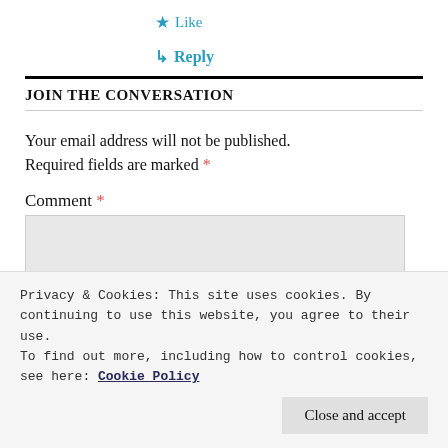★ Like
↳ Reply
JOIN THE CONVERSATION
Your email address will not be published. Required fields are marked *
Comment *
Privacy & Cookies: This site uses cookies. By continuing to use this website, you agree to their use.
To find out more, including how to control cookies, see here: Cookie Policy
Close and accept